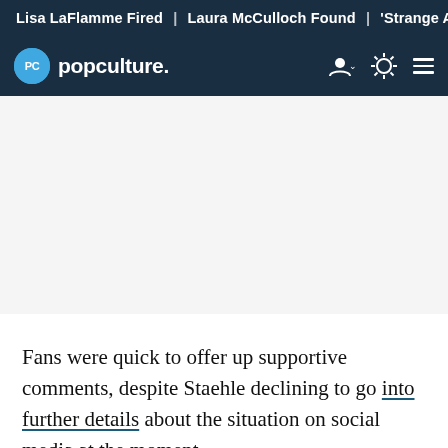Lisa LaFlamme Fired | Laura McCulloch Found | 'Strange Adv
PC popculture.
Fans were quick to offer up supportive comments, despite Staehle declining to go into further details about the situation on social media at the moment.